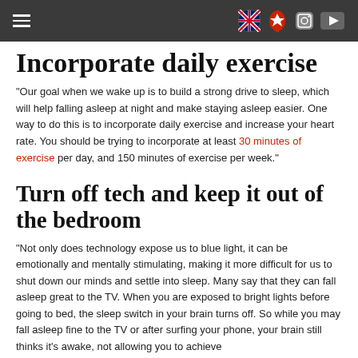[navigation header with hamburger menu and icons]
Incorporate daily exercise
“Our goal when we wake up is to build a strong drive to sleep, which will help falling asleep at night and make staying asleep easier. One way to do this is to incorporate daily exercise and increase your heart rate. You should be trying to incorporate at least 30 minutes of exercise per day, and 150 minutes of exercise per week.”
Turn off tech and keep it out of the bedroom
“Not only does technology expose us to blue light, it can be emotionally and mentally stimulating, making it more difficult for us to shut down our minds and settle into sleep. Many say that they can fall asleep great to the TV. When you are exposed to bright lights before going to bed, the sleep switch in your brain turns off. So while you may fall asleep fine to the TV or after surfing your phone, your brain still thinks it’s awake, not allowing you to achieve…”